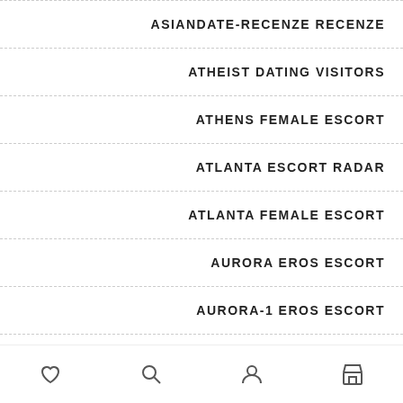ASIANDATE-RECENZE RECENZE
ATHEIST DATING VISITORS
ATHENS FEMALE ESCORT
ATLANTA ESCORT RADAR
ATLANTA FEMALE ESCORT
AURORA EROS ESCORT
AURORA-1 EROS ESCORT
AURORA-1 ESCORT
heart icon, search icon, user icon, store icon